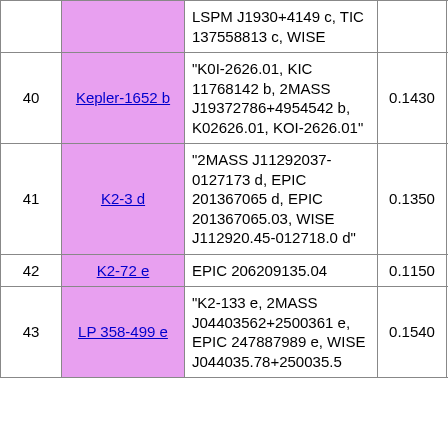| # | Name | Aliases | Col4 | Col5 | Col6 |
| --- | --- | --- | --- | --- | --- |
|  |  | LSPM J1930+4149 c, TIC 137558813 c, WISE |  |  |  |
| 40 | Kepler-1652 b | "K0I-2626.01, KIC 11768142 b, 2MASS J19372786+4954542 b, K02626.01, KOI-2626.01" | 0.1430 | 0.0129 | 0.1 |
| 41 | K2-3 d | "2MASS J11292037-0127173 d, EPIC 201367065 d, EPIC 201367065.03, WISE J112920.45-012718.0 d" | 0.1350 | 0.0088 | 0.2 |
| 42 | K2-72 e | EPIC 206209135.04 | 0.1150 | 0.0077 | 0.1 |
| 43 | LP 358-499 e | "K2-133 e, 2MASS J04403562+2500361 e, EPIC 247887989 e, WISE J044035.78+250035.5 | 0.1540 | 0.0138 | 0.1 |